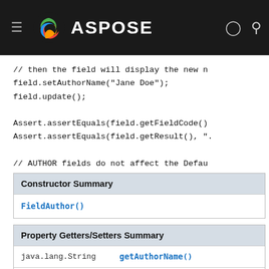ASPOSE
// then the field will display the new n
field.setAuthorName("Jane Doe");
field.update();

Assert.assertEquals(field.getFieldCode()
Assert.assertEquals(field.getResult(), ".

// AUTHOR fields do not affect the Defau
Assert.assertEquals("Jane Doe", doc.getB
Assert.assertEquals("Joe Bloggs", doc.ge

doc.save(getArtifactsDir() + "Field.AUTH
| Constructor Summary |
| --- |
| FieldAuthor() |
| Property Getters/Setters Summary |
| --- |
| java.lang.String | getAuthorName() |
| void | setAuthorName(java.lar |
|  | Gets or sets the doc |